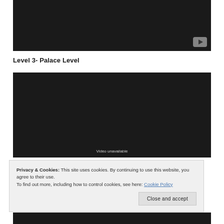[Figure (screenshot): Dark/black video player embed with a YouTube-style play button in the bottom-right corner]
Level 3- Palace Level
[Figure (screenshot): Dark/black video player embed showing 'Video unavailable' message at the bottom]
Privacy & Cookies: This site uses cookies. By continuing to use this website, you agree to their use.
To find out more, including how to control cookies, see here: Cookie Policy
Close and accept
[Figure (screenshot): Partial view of another dark video player embed at the bottom of the page]